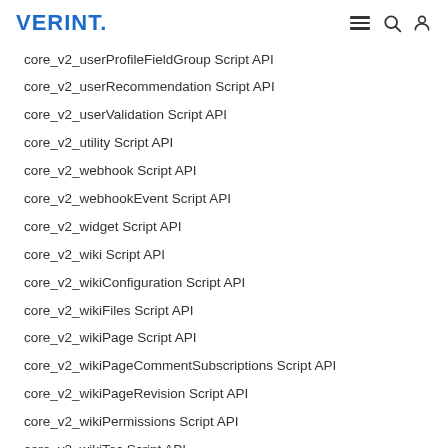VERINT.
core_v2_userProfileFieldGroup Script API
core_v2_userRecommendation Script API
core_v2_userValidation Script API
core_v2_utility Script API
core_v2_webhook Script API
core_v2_webhookEvent Script API
core_v2_widget Script API
core_v2_wiki Script API
core_v2_wikiConfiguration Script API
core_v2_wikiFiles Script API
core_v2_wikiPage Script API
core_v2_wikiPageCommentSubscriptions Script API
core_v2_wikiPageRevision Script API
core_v2_wikiPermissions Script API
core_v2_wikiToc Script API
core_v2_wikiUrls Script API
core_v3_feature Script API